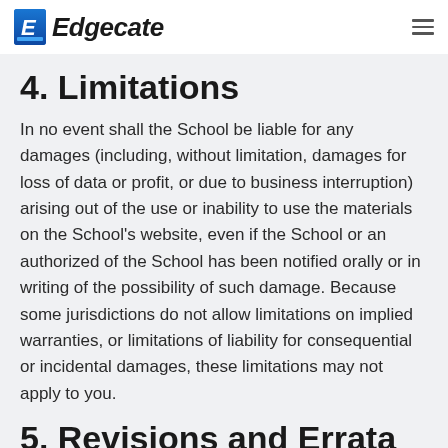Edgecate
4. Limitations
In no event shall the School be liable for any damages (including, without limitation, damages for loss of data or profit, or due to business interruption) arising out of the use or inability to use the materials on the School's website, even if the School or an authorized of the School has been notified orally or in writing of the possibility of such damage. Because some jurisdictions do not allow limitations on implied warranties, or limitations of liability for consequential or incidental damages, these limitations may not apply to you.
5. Revisions and Errata
The materials appearing on the School's website may include technical, typographical, or photographic errors.